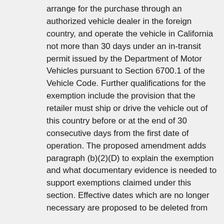arrange for the purchase through an authorized vehicle dealer in the foreign country, and operate the vehicle in California not more than 30 days under an in-transit permit issued by the Department of Motor Vehicles pursuant to Section 6700.1 of the Vehicle Code. Further qualifications for the exemption include the provision that the retailer must ship or drive the vehicle out of this country before or at the end of 30 consecutive days from the first date of operation. The proposed amendment adds paragraph (b)(2)(D) to explain the exemption and what documentary evidence is needed to support exemptions claimed under this section. Effective dates which are no longer necessary are proposed to be deleted from